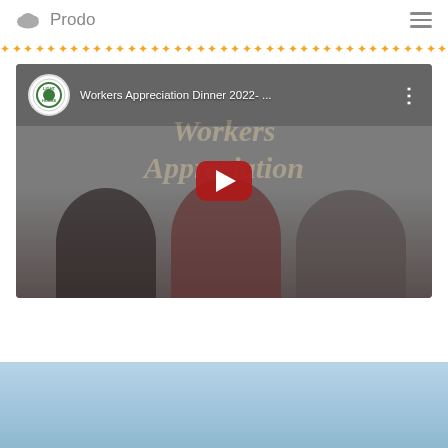Prodo
******************************************
[Figure (screenshot): YouTube video thumbnail for 'Workers Appreciation Dinner 2022-...' showing three women smiling in front of a decorative background with cursive text 'Workers Appreciation'. A YouTube play button is visible in the center. A channel icon is shown top left.]
[Figure (photo): Light blue sky/background section at the bottom of the page]